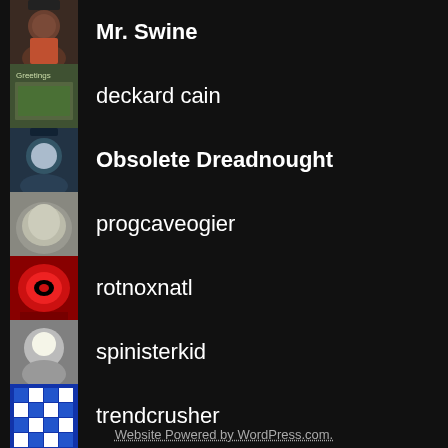Mr. Swine
deckard cain
Obsolete Dreadnought
progcaveogier
rotnoxnatl
spinisterkid
trendcrusher
Your Grouchy Friend
Website Powered by WordPress.com.